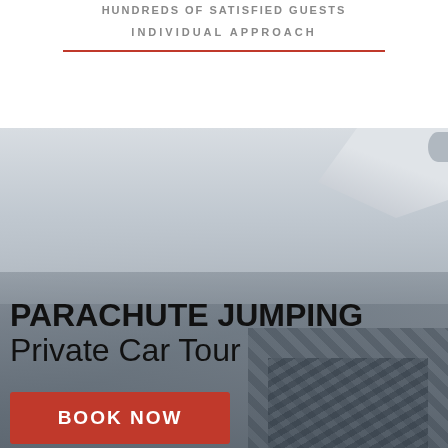HUNDREDS OF SATISFIED GUESTS
INDIVIDUAL APPROACH
[Figure (photo): Aerial view from inside a small aircraft, looking down at a cityscape below with hazy sky and a visible aircraft wing in the upper right corner. Text overlaid: 'PARACHUTE JUMPING / Private Car Tour' and a red 'BOOK NOW' button.]